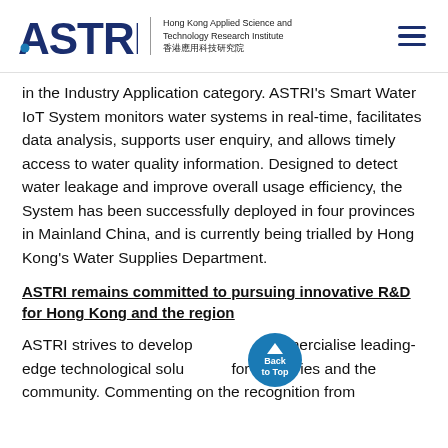ASTRI — Hong Kong Applied Science and Technology Research Institute 香港應用科技研究院
in the Industry Application category. ASTRI's Smart Water IoT System monitors water systems in real-time, facilitates data analysis, supports user enquiry, and allows timely access to water quality information. Designed to detect water leakage and improve overall usage efficiency, the System has been successfully deployed in four provinces in Mainland China, and is currently being trialled by Hong Kong's Water Supplies Department.
ASTRI remains committed to pursuing innovative R&D for Hong Kong and the region
ASTRI strives to develop and commercialise leading-edge technological solutions for industries and the community. Commenting on the recognition from